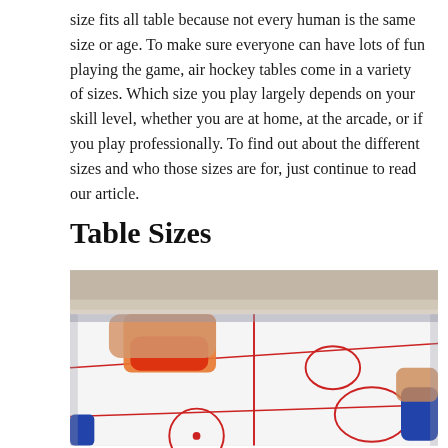size fits all table because not every human is the same size or age. To make sure everyone can have lots of fun playing the game, air hockey tables come in a variety of sizes. Which size you play largely depends on your skill level, whether you are at home, at the arcade, or if you play professionally. To find out about the different sizes and who those sizes are for, just continue to read our article.
Table Sizes
[Figure (photo): Close-up photo of an air hockey table with two players' hands holding red and blue paddles on a white surface with red circle and line markings.]